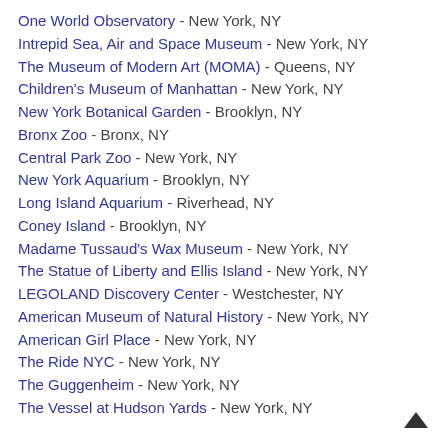One World Observatory - New York, NY
Intrepid Sea, Air and Space Museum - New York, NY
The Museum of Modern Art (MOMA) - Queens, NY
Children's Museum of Manhattan - New York, NY
New York Botanical Garden - Brooklyn, NY
Bronx Zoo - Bronx, NY
Central Park Zoo - New York, NY
New York Aquarium - Brooklyn, NY
Long Island Aquarium - Riverhead, NY
Coney Island - Brooklyn, NY
Madame Tussaud's Wax Museum - New York, NY
The Statue of Liberty and Ellis Island - New York, NY
LEGOLAND Discovery Center - Westchester, NY
American Museum of Natural History - New York, NY
American Girl Place - New York, NY
The Ride NYC - New York, NY
The Guggenheim - New York, NY
The Vessel at Hudson Yards - New York, NY